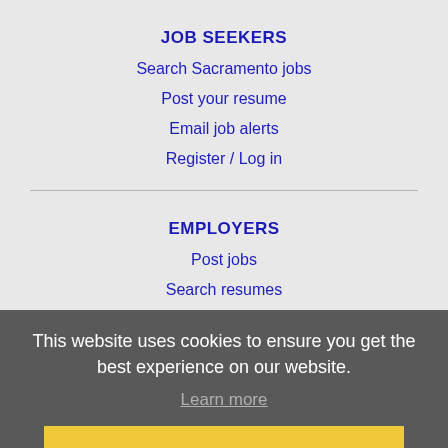JOB SEEKERS
Search Sacramento jobs
Post your resume
Email job alerts
Register / Log in
EMPLOYERS
Post jobs
Search resumes
Email resume alerts
Advertise
IMMIGRATION SPECIALISTS
Post jobs
Immigration FAQs
This website uses cookies to ensure you get the best experience on our website.
Learn more
Got it!